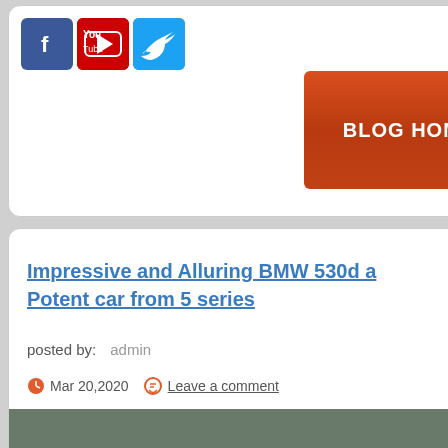[Figure (logo): Social media icons: Facebook (blue), YouTube (red), Twitter (blue)]
[Figure (other): Orange/red BLOG HOME button]
Impressive and Alluring BMW 530d a Potent car from 5 series
posted by: admin
Mar 20,2020   Leave a comment
[Figure (photo): Dark gray BMW 5 Series GT (530d) parked in a parking lot, front three-quarter view]